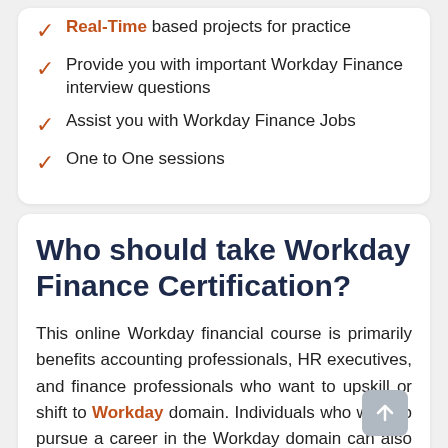Real-Time based projects for practice
Provide you with important Workday Finance interview questions
Assist you with Workday Finance Jobs
One to One sessions
Who should take Workday Finance Certification?
This online Workday financial course is primarily benefits accounting professionals, HR executives, and finance professionals who want to upskill or shift to Workday domain. Individuals who want to pursue a career in the Workday domain can also opt.